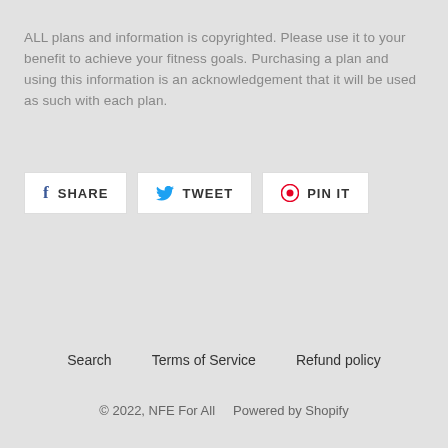ALL plans and information is copyrighted. Please use it to your benefit to achieve your fitness goals. Purchasing a plan and using this information is an acknowledgement that it will be used as such with each plan.
SHARE TWEET PIN IT
Search   Terms of Service   Refund policy
© 2022, NFE For All   Powered by Shopify